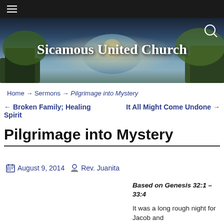Sicamous United Church
Home → Sermons → Pilgrimage into Mystery
← Broken Family; Healing Spirit    It All Might Come Undone →
Pilgrimage into Mystery
August 9, 2014   Rev. Juanita
Based on Genesis 32:1 – 33:4
It was a long rough night for Jacob and